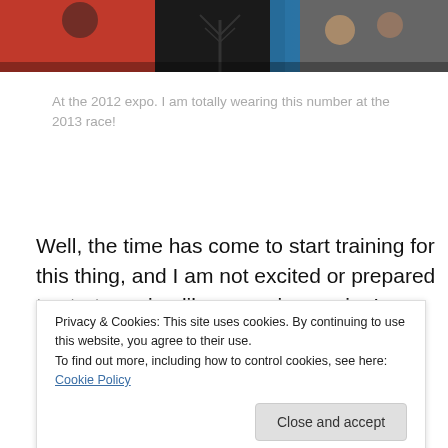[Figure (photo): A cropped photo strip showing people at the 2012 expo, with reddish and dark tones suggesting an event/race setting.]
At the 2012 expo. I am totally wearing this number at the 2013 race!
Well, the time has come to start training for this thing, and I am not excited or prepared to start running like a maniac again. In fact, I am pretty much dreading it. And I really
Privacy & Cookies: This site uses cookies. By continuing to use this website, you agree to their use.
To find out more, including how to control cookies, see here: Cookie Policy
to me whine, complain and cry while I go through each